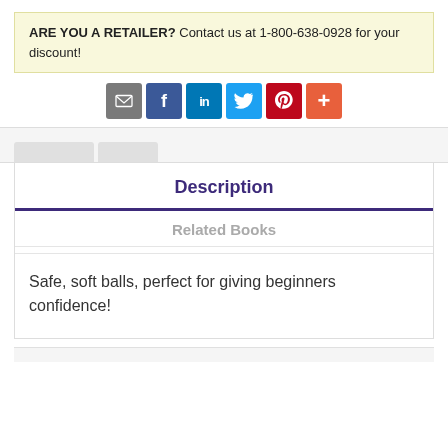ARE YOU A RETAILER? Contact us at 1-800-638-0928 for your discount!
[Figure (other): Social sharing buttons: email (grey), Facebook (blue), LinkedIn (blue), Twitter (light blue), Pinterest (red), More (orange)]
Description
Related Books
Safe, soft balls, perfect for giving beginners confidence!